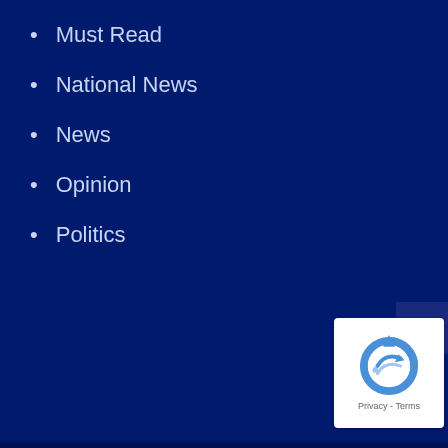Must Read
National News
News
Opinion
Politics